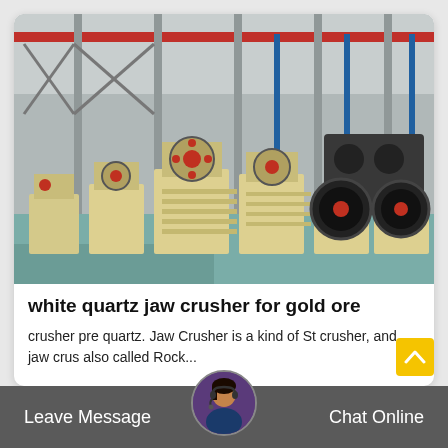[Figure (photo): Factory floor with multiple jaw crushers (cream/beige colored machines with red and black components, large flywheels) lined up in an industrial warehouse with steel structural framework and overhead cranes]
white quartz jaw crusher for gold ore
crusher pre quartz. Jaw Crusher is a kind of St crusher, and jaw crus also called Rock...
Leave Message  Chat Online